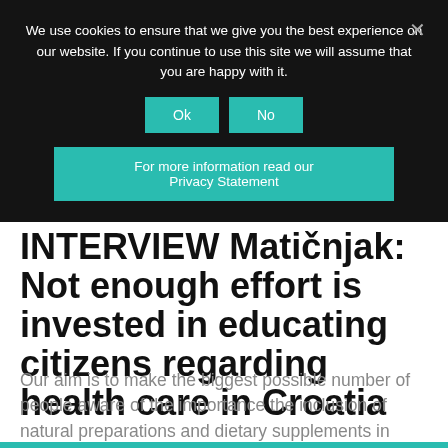We use cookies to ensure that we give you the best experience on our website. If you continue to use this site we will assume that you are happy with it.
Ok
No
For more information read our Privacy Statement
INTERVIEW Matičnjak: Not enough effort is invested in educating citizens regarding health care in Croatia
Our aim is to make the biggest possible number of people aware of the importance the inclusion of natural preparations and dietary supplements in everyday life.